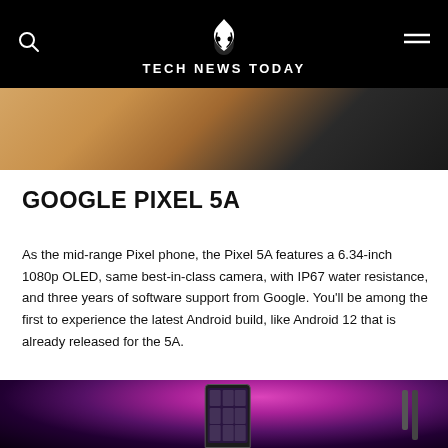TECH NEWS TODAY
[Figure (photo): Close-up photo of a hand holding a smartphone against an orange/warm background]
GOOGLE PIXEL 5A
As the mid-range Pixel phone, the Pixel 5A features a 6.34-inch 1080p OLED, same best-in-class camera, with IP67 water resistance, and three years of software support from Google. You'll be among the first to experience the latest Android build, like Android 12 that is already released for the 5A.
[Figure (photo): Photo of a Google Pixel 5A smartphone against a pink/magenta bokeh background with purple lighting]